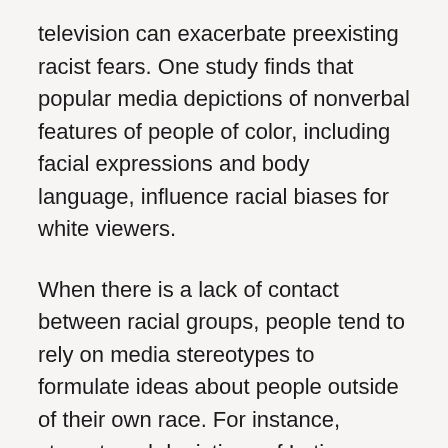television can exacerbate preexisting racist fears. One study finds that popular media depictions of nonverbal features of people of color, including facial expressions and body language, influence racial biases for white viewers.
When there is a lack of contact between racial groups, people tend to rely on media stereotypes to formulate ideas about people outside of their own race. For instance, stereotyped depictions of Latinx people in the media can lead audiences to associate immigration with increased unemployment and crime. Furthermore, the media's tendency to fuel racial misperceptions can contribute to public support for harsher